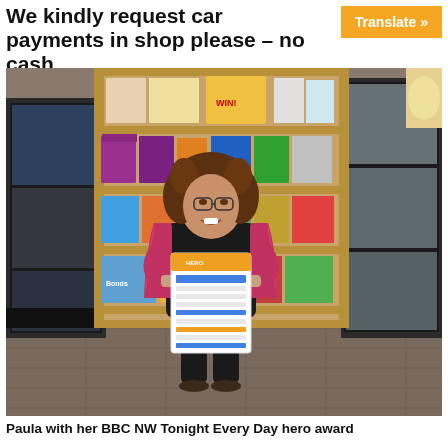We kindly request car payments in shop please – no cash.
[Figure (photo): Woman standing in a convenience store/shop holding a certificate/award, smiling. Behind her are wooden shelves stocked with various products including snacks, cleaning products and drinks. On either side are refrigerators. She is wearing a pink/red fuzzy cardigan over a black outfit.]
Paula with her BBC NW Tonight Every Day hero award